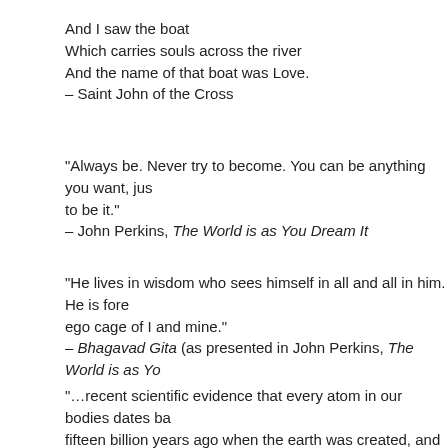And I saw the boat
Which carries souls across the river
And the name of that boat was Love.
– Saint John of the Cross
“Always be. Never try to become. You can be anything you want, just to be it.”
– John Perkins, The World is as You Dream It
“He lives in wisdom who sees himself in all and all in him. He is fore ego cage of I and mine.”
– Bhagavad Gita (as presented in John Perkins, The World is as Yo
“…recent scientific evidence that every atom in our bodies dates ba fifteen billion years ago when the earth was created, and that no ato